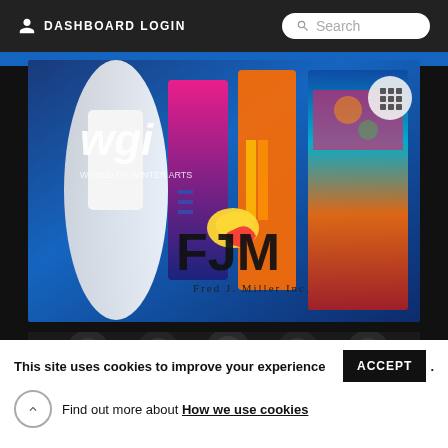DASHBOARD LOGIN    Search
[Figure (photo): WGI and FJM Fred J. Miller Inc. advertisement banner featuring performers in colorful costumes and the WGI and FJM logos]
[Figure (photo): Dark photo strip showing performers in black and white costumes, likely a marching or color guard group]
This site uses cookies to improve your experience   ACCEPT .
Find out more about How we use cookies